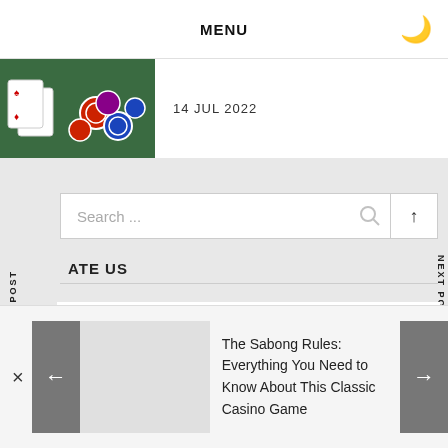MENU
14 JUL 2022
Search ...
ATE US
PREVIOUS POST
NEXT POST
right © 2020 Affect Vs Effect. All Rights Reserved.
ne: Infinity News by Themeinwp.
The Sabong Rules: Everything You Need to Know About This Classic Casino Game